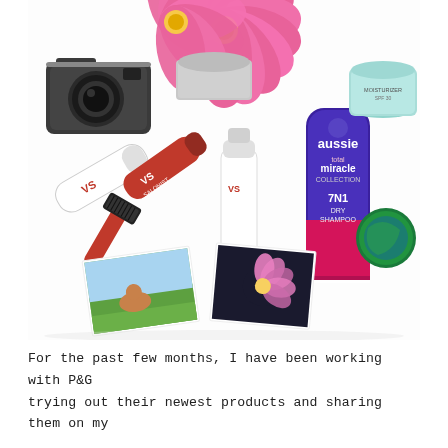[Figure (photo): Flat lay photo on a white surface featuring: pink daisy/gerbera flowers in a grey vase (top center), a vintage SLR film camera (top left), two VS (Vidal Sassoon) hair product tubes, a VS spray bottle, a large Aussie 7N1 Miracle Collection dry shampoo purple can (right center), a teal/mint facial cream jar (top right), a dark green round compact (right), a red hair dye brush, and two small photo prints showing outdoor scenes.]
For the past few months, I have been working with P&G trying out their newest products and sharing them on my